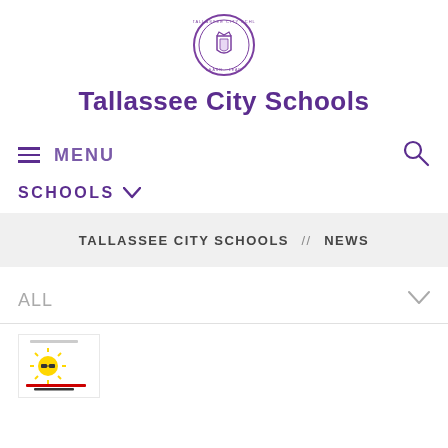[Figure (logo): Tallassee City Schools circular seal/logo in purple]
Tallassee City Schools
MENU
SCHOOLS
TALLASSEE CITY SCHOOLS // NEWS
ALL
[Figure (screenshot): Partial news card thumbnail showing a summer reading program image with a sun graphic]